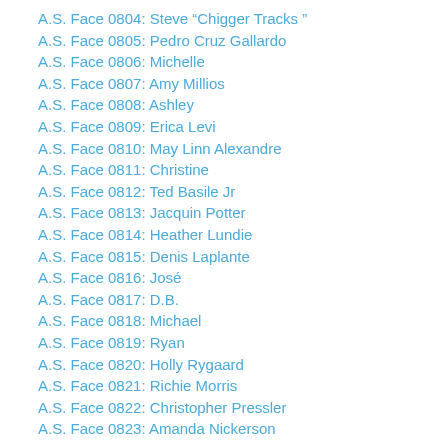A.S. Face 0804: Steve “Chigger Tracks”
A.S. Face 0805: Pedro Cruz Gallardo
A.S. Face 0806: Michelle
A.S. Face 0807: Amy Millios
A.S. Face 0808: Ashley
A.S. Face 0809: Erica Levi
A.S. Face 0810: May Linn Alexandre
A.S. Face 0811: Christine
A.S. Face 0812: Ted Basile Jr
A.S. Face 0813: Jacquin Potter
A.S. Face 0814: Heather Lundie
A.S. Face 0815: Denis Laplante
A.S. Face 0816: José
A.S. Face 0817: D.B.
A.S. Face 0818: Michael
A.S. Face 0819: Ryan
A.S. Face 0820: Holly Rygaard
A.S. Face 0821: Richie Morris
A.S. Face 0822: Christopher Pressler
A.S. Face 0823: Amanda Nickerson